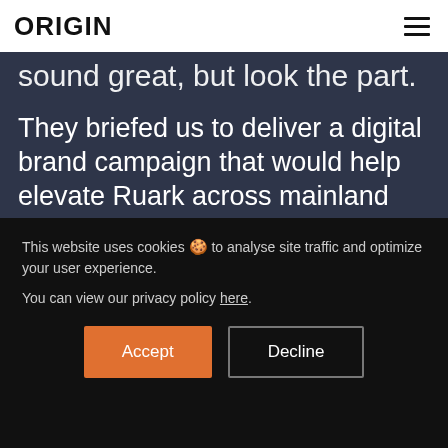ORIGIN
sound great, but look the part.
They briefed us to deliver a digital brand campaign that would help elevate Ruark across mainland UK for the months leading up to Christmas 2019.
This website uses cookies 🍪 to analyse site traffic and optimize your user experience.

You can view our privacy policy here.
Accept
Decline